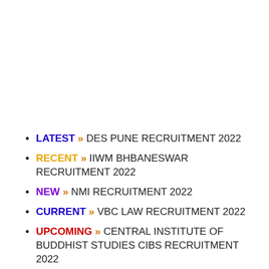LATEST » DES PUNE RECRUITMENT 2022
RECENT » IIWM BHBANESWAR RECRUITMENT 2022
NEW » NMI RECRUITMENT 2022
CURRENT » VBC LAW RECRUITMENT 2022
UPCOMING » CENTRAL INSTITUTE OF BUDDHIST STUDIES CIBS RECRUITMENT 2022